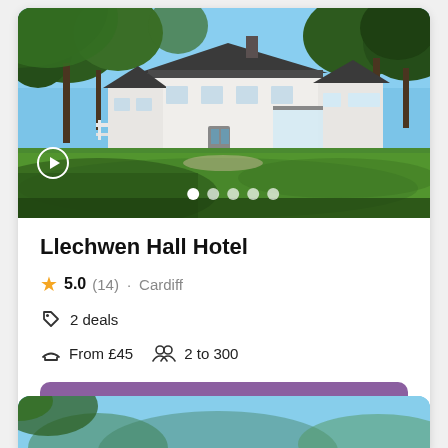[Figure (photo): Llechwen Hall Hotel exterior — a white country house with slate roof, surrounded by large green lawn and tall trees under a blue sky]
Llechwen Hall Hotel
5.0 (14) · Cardiff
2 deals
From £45  2 to 300
Request Pricing